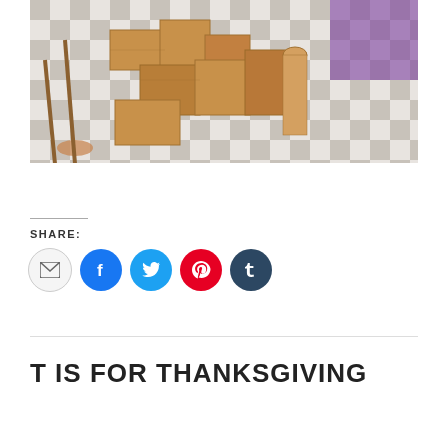[Figure (photo): Photo of wooden crates and boxes stacked on a black and white checkerboard floor, with purple curtain visible in background]
SHARE:
[Figure (infographic): Social sharing buttons: email (grey), Facebook (blue), Twitter (light blue), Pinterest (red), Tumblr (dark navy)]
T IS FOR THANKSGIVING